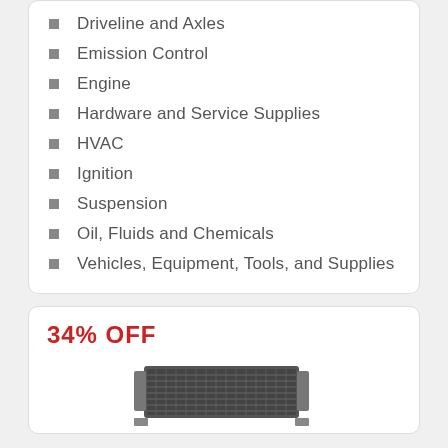Driveline and Axles
Emission Control
Engine
Hardware and Service Supplies
HVAC
Ignition
Suspension
Oil, Fluids and Chemicals
Vehicles, Equipment, Tools, and Supplies
34% OFF
[Figure (photo): Auto part product photo — an AC condenser/radiator unit, dark metallic, viewed at slight angle]